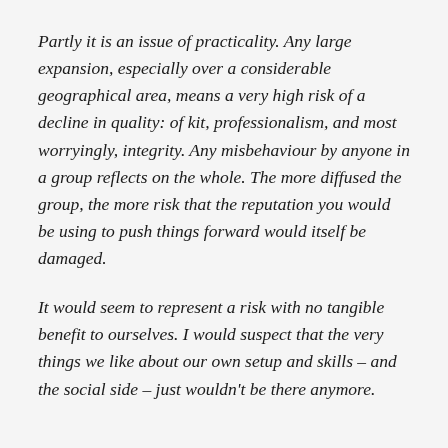Partly it is an issue of practicality. Any large expansion, especially over a considerable geographical area, means a very high risk of a decline in quality: of kit, professionalism, and most worryingly, integrity. Any misbehaviour by anyone in a group reflects on the whole. The more diffused the group, the more risk that the reputation you would be using to push things forward would itself be damaged.
It would seem to represent a risk with no tangible benefit to ourselves. I would suspect that the very things we like about our own setup and skills – and the social side – just wouldn't be there anymore.